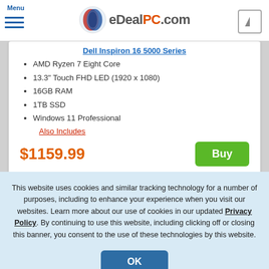Menu | eDealPC.com
Dell Inspiron 16 5000 Series
AMD Ryzen 7 Eight Core
13.3" Touch FHD LED (1920 x 1080)
16GB RAM
1TB SSD
Windows 11 Professional
Also Includes
$1159.99
Buy
This website uses cookies and similar tracking technology for a number of purposes, including to enhance your experience when you visit our websites. Learn more about our use of cookies in our updated Privacy Policy. By continuing to use this website, including clicking off or closing this banner, you consent to the use of these technologies by this website.
OK